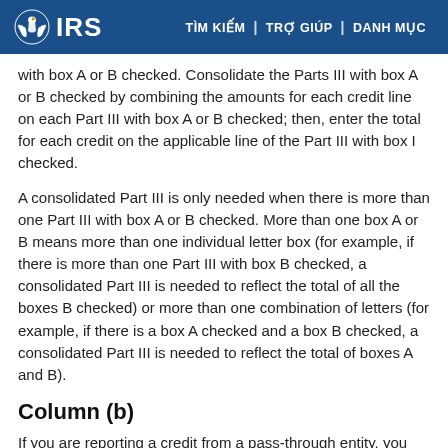IRS | TÌM KIẾM | TRỢ GIÚP | DANH MỤC
with box A or B checked. Consolidate the Parts III with box A or B checked by combining the amounts for each credit line on each Part III with box A or B checked; then, enter the total for each credit on the applicable line of the Part III with box I checked.
A consolidated Part III is only needed when there is more than one Part III with box A or B checked. More than one box A or B means more than one individual letter box (for example, if there is more than one Part III with box B checked, a consolidated Part III is needed to reflect the total of all the boxes B checked) or more than one combination of letters (for example, if there is a box A checked and a box B checked, a consolidated Part III is needed to reflect the total of boxes A and B).
Column (b)
If you are reporting a credit from a pass-through entity, you must enter that pass-through entity's employer identification number (EIN) in column (b) for that